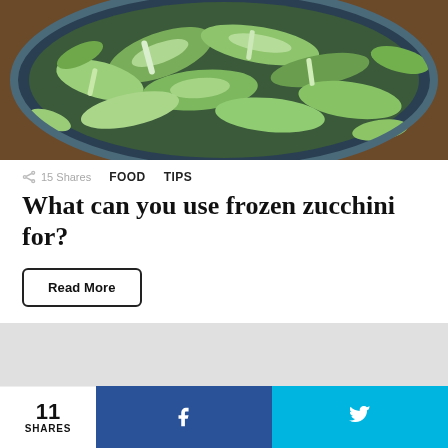[Figure (photo): Bowl of green vegetables (bok choy / leafy greens) in a dark pan, viewed from above]
15 Shares   FOOD   TIPS
What can you use frozen zucchini for?
Read More
[Figure (photo): Light gray placeholder image area]
11 SHARES  f  (Twitter bird icon)